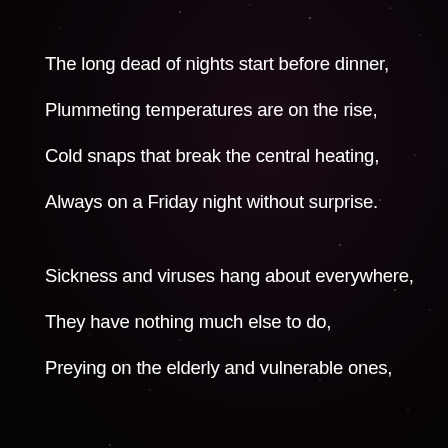The long dead of nights start before dinner,
Plummeting temperatures are on the rise,
Cold snaps that break the central heating,
Always on a Friday night without surprise.
Sickness and viruses hang about everywhere,
They have nothing much else to do,
Preying on the elderly and vulnerable ones,